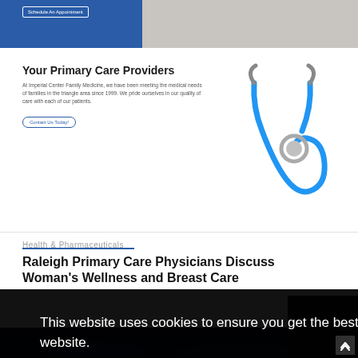[Figure (photo): Top banner with blue left panel containing 'Schedule An Appointment' button and right panel showing medical professionals in white coats]
Your Primary Care Providers
At Imperial Center Family Medicine, we have been meeting the medical needs of families in the triangle area since 1999. We pride ourselves in our quality of care with each of our patients.
Contact Us Today!
[Figure (photo): Blue stethoscope on white background]
Health & Pharmaceuticals
Raleigh Primary Care Physicians Discuss Woman's Wellness and Breast Care
This website uses cookies to ensure you get the best experience on our website.
Deactivate website analytics
Allow Cookies
[Figure (photo): Dark audience/crowd image visible at bottom of page]